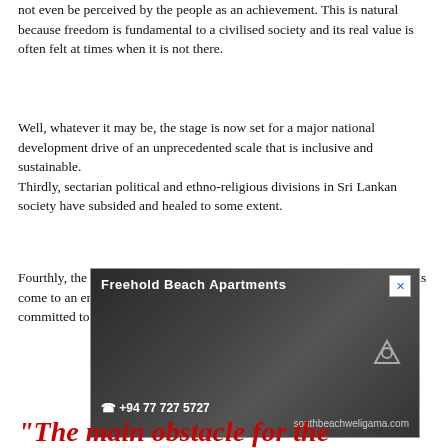not even be perceived by the people as an achievement. This is natural because freedom is fundamental to a civilised society and its real value is often felt at times when it is not there.
Well, whatever it may be, the stage is now set for a major national development drive of an unprecedented scale that is inclusive and sustainable.
Thirdly, sectarian political and ethno-religious divisions in Sri Lankan society have subsided and healed to some extent.
Fourthly, the isolation of Sri Lanka in the realm of international politics has come to an end. In this regard it would be vital that we continue to be committed to non-aligned p...
[Figure (photo): Advertisement for Freehold Beach Apartments showing a person on a beach. Contact: +94 77 727 5727. Website: southbeachweligama.com]
"The main obstacle for the